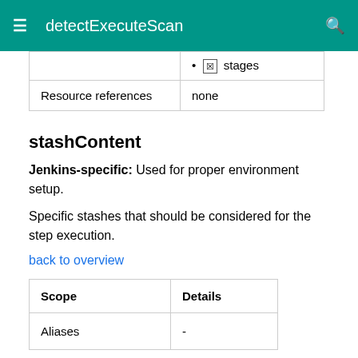detectExecuteScan
|  | ☒ stages |
| Resource references | none |
stashContent
Jenkins-specific: Used for proper environment setup.
Specific stashes that should be considered for the step execution.
back to overview
| Scope | Details |
| --- | --- |
| Aliases | - |